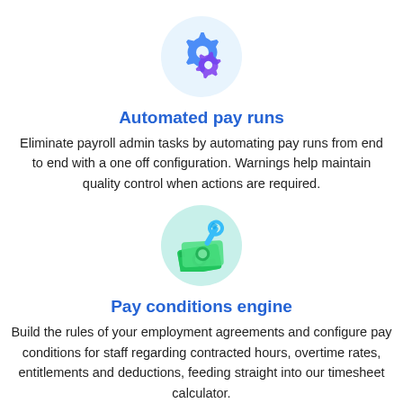[Figure (illustration): Blue and purple gear icons on a light blue circular background representing automated pay runs]
Automated pay runs
Eliminate payroll admin tasks by automating pay runs from end to end with a one off configuration. Warnings help maintain quality control when actions are required.
[Figure (illustration): Green money/cash icon with a blue wrench on a light teal circular background representing pay conditions engine]
Pay conditions engine
Build the rules of your employment agreements and configure pay conditions for staff regarding contracted hours, overtime rates, entitlements and deductions, feeding straight into our timesheet calculator.